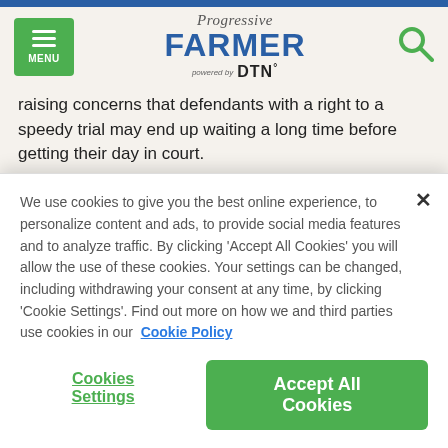Progressive FARMER powered by DTN
raising concerns that defendants with a right to a speedy trial may end up waiting a long time before getting their day in court.
"The reason for the delay has not changed or become even remotely concrete. It remains as amorphous today as it was months ago," an attorney wrote in court documents opposing prosecutors' request to cancel the scheduled November trial for Timothy Hale-Cusanelli, an ex-Army reservist described by co-workers as a known Nazi sympathizer.
We use cookies to give you the best online experience, to personalize content and ads, to provide social media features and to analyze traffic. By clicking 'Accept All Cookies' you will allow the use of these cookies. Your settings can be changed, including withdrawing your consent at any time, by clicking 'Cookie Settings'. Find out more on how we and third parties use cookies in our Cookie Policy
Cookies Settings
Accept All Cookies